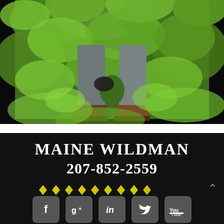[Figure (photo): Close-up photo of a person's legs and boots walking through dense green forest undergrowth and foliage]
MAINE WILDMAN
207-852-2559
[Figure (other): Row of yellow diamond decorative dividers]
[Figure (infographic): Row of social media icon buttons: Facebook, Google+, LinkedIn, Twitter, YouTube]